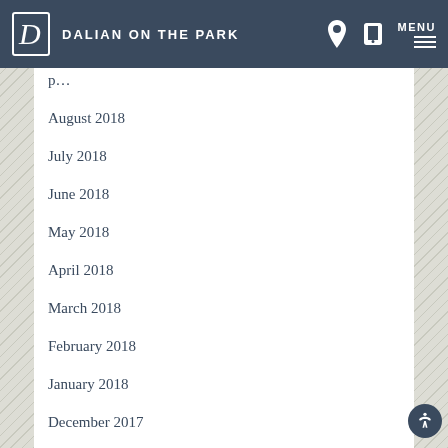DALIAN ON THE PARK
August 2018
July 2018
June 2018
May 2018
April 2018
March 2018
February 2018
January 2018
December 2017
November 2017
October 2017
September 2017